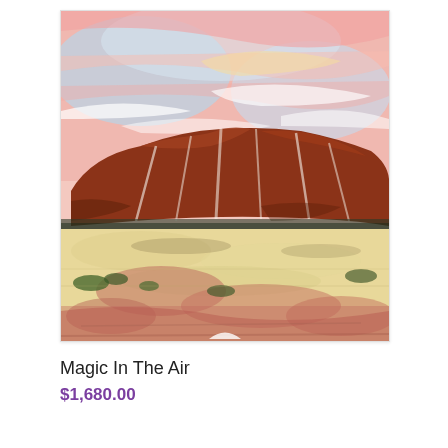[Figure (illustration): Painting of Uluru (Ayers Rock) in Australia. The scene shows the massive red sandstone rock formation under a pink and blue sky with wispy clouds. The foreground features sandy desert ground with patches of red-brown earth and sparse green shrubs. The rock is painted in deep red-brown tones with white streaks suggesting texture or water marks.]
Magic In The Air
$1,680.00